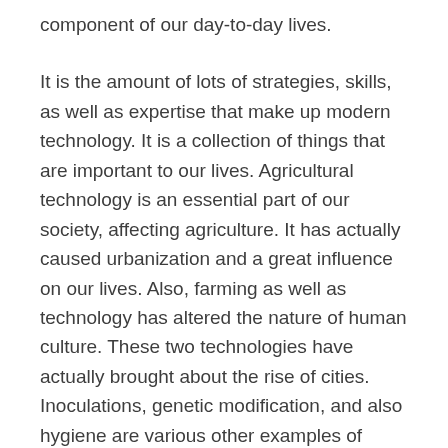component of our day-to-day lives.
It is the amount of lots of strategies, skills, as well as expertise that make up modern technology. It is a collection of things that are important to our lives. Agricultural technology is an essential part of our society, affecting agriculture. It has actually caused urbanization and a great influence on our lives. Also, farming as well as technology has altered the nature of human culture. These two technologies have actually brought about the rise of cities. Inoculations, genetic modification, and also hygiene are various other examples of technical advances.
Although words modern technology is used widely in everyday life, words modern technology as well as craft are often related. One of one of the most usual